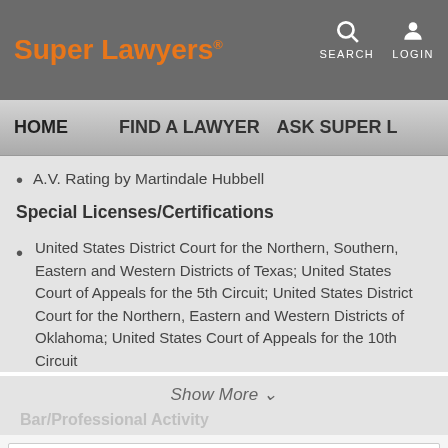Super Lawyers
HOME   FIND A LAWYER   ASK SUPER L
A.V. Rating by Martindale Hubbell
Special Licenses/Certifications
United States District Court for the Northern, Southern, Eastern and Western Districts of Texas; United States Court of Appeals for the 5th Circuit; United States District Court for the Northern, Eastern and Western Districts of Oklahoma; United States Court of Appeals for the 10th Circuit
Show More
Bar/Professional Activity
Office Location for Bret A. Sanders